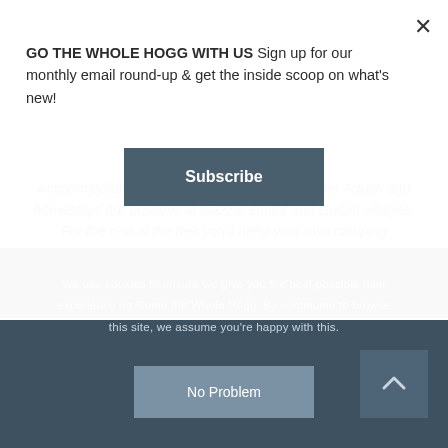GO THE WHOLE HOGG WITH US Sign up for our monthly email round-up & get the inside scoop on what's new!
Subscribe
Accommodation and food is available at Alplager Artuch and homestays are possible at Gazza, Zimtut and Guitan villages. For the rest of the trek you'll need your own camping equipment and supplies.
We use cookies to ensure we give you the best possible user experience on Going the Whole Hogg. By continuing to browse this site, we assume you're happy with this.
No Problem